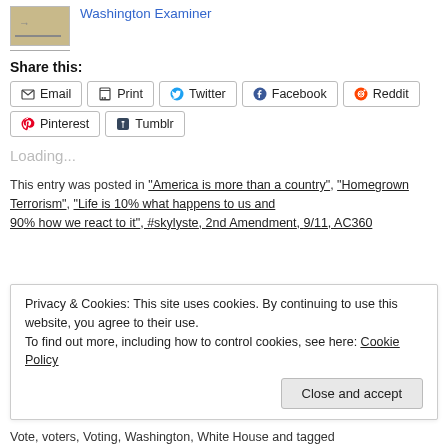[Figure (photo): Thumbnail image (beige/tan colored) with an arrow symbol]
Washington Examiner
Share this:
Email
Print
Twitter
Facebook
Reddit
Pinterest
Tumblr
Loading...
This entry was posted in "America is more than a country", "Homegrown Terrorism", "Life is 10% what happens to us and 90% how we react to it", #skylyste, 2nd Amendment, 9/11, AC360
Privacy & Cookies: This site uses cookies. By continuing to use this website, you agree to their use.
To find out more, including how to control cookies, see here: Cookie Policy
Close and accept
Vote, voters, Voting, Washington, White House and tagged